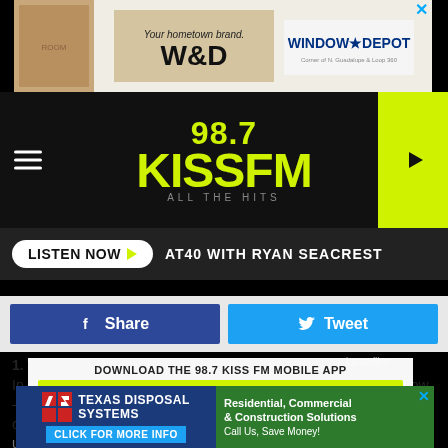[Figure (photo): Window Depot advertisement banner at top of page]
[Figure (logo): 98.7 KISS FM All The Hits radio station logo in yellow-green on black background, with hamburger menu and play button]
LISTEN NOW   AT40 WITH RYAN SEACREST
[Figure (infographic): Facebook Share button (dark blue) and Twitter Tweet button (light blue)]
DOWNLOAD THE 98.7 KISS FM MOBILE APP
GET OUR FREE MOBILE APP
Also listen on:  amazon alexa
1. The Jedis Have Super-Speed (But Just One Time)
In one of the weirdest moments in the entire Star Wars film or show — which is really saying something — Qui-Gon and Obi-Wan get out of a jam early in The Phantom Menace when they are able to use some kind of Force-powered, Jedi-like super-speed to escape their attackers. (In the image above
[Figure (photo): Texas Disposal Systems advertisement at bottom of page with residential, commercial and construction solutions]